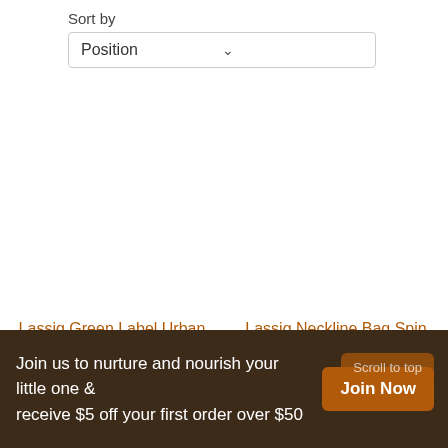Sort by
Position
Lassig Green Label Urban Nappy Bag Black Melange
$249.95
Add to cart.
Lassig Neckline Bag Spin Dye Black Melange
$249.95
Add to cart.
Join us to nurture and nourish your little one & receive $5 off your first order over $50